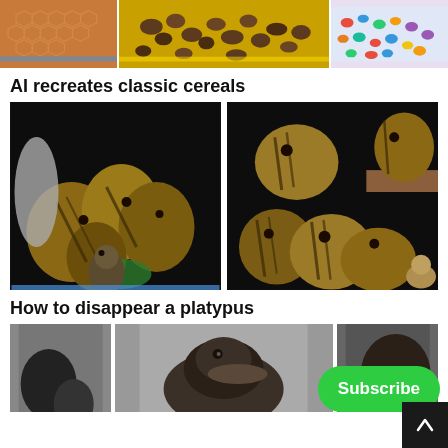[Figure (photo): Three food/cereal images at the top: honeycomb/waffle texture, raisins in yellow bowl, colorful cereal pieces]
AI recreates classic cereals
[Figure (photo): Two side-by-side photos of chipmunks/squirrels grouped together on dark backgrounds]
How to disappear a platypus
[Figure (photo): Three partially visible images at bottom showing what appears to be a platypus/dark animal]
[Figure (other): Green Subscribe button overlay in bottom right area]
[Figure (other): Dark scroll-up button with upward arrow in bottom right corner]